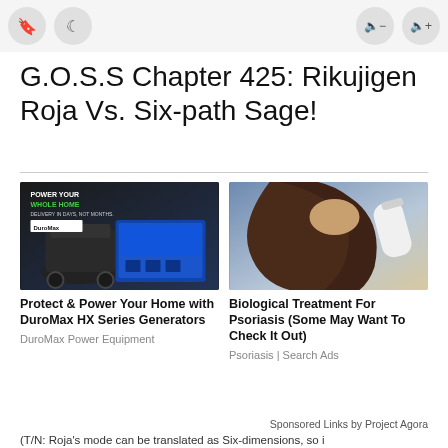[toolbar icons: bookmark, moon, speaker-minus, speaker-plus]
G.O.S.S Chapter 425: Rikujigen Roja Vs. Six-path Sage!
[Figure (photo): Advertisement image: DuroMax generator with text 'POWER YOUR WHOLE HOME - DELIVERY IN DAYS, NOT MONTHS' and DuroMax logo]
Protect & Power Your Home with DuroMax HX Series Generators
DuroMax Power Equipment
[Figure (photo): Advertisement image: woman applying treatment to scalp/hair]
Biological Treatment For Psoriasis (Some May Want To Check It Out)
Psoriasis | Search Ads
Sponsored Links by Project Agora
(T/N: Roja's mode can be translated as Six-dimensions, so i